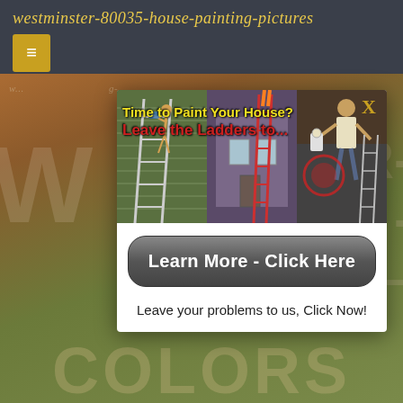westminster-80035-house-painting-pictures
[Figure (screenshot): Modal popup over a house painting website background. Modal contains three side-by-side images of people on ladders painting houses, with text overlay 'Time to Paint Your House?' and 'Leave the Ladders to...' in yellow and red. A 'Learn More - Click Here' button and text 'Leave your problems to us, Click Now!' appear below the images. Background shows partial large watermark text of the page title.]
Time to Paint Your House?
Leave the Ladders to...
Learn More - Click Here
Leave your problems to us, Click Now!